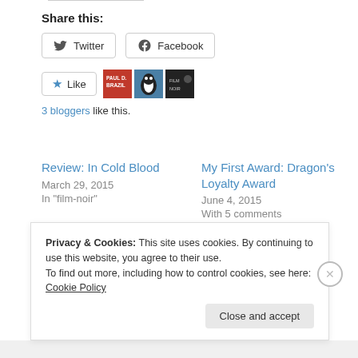Share this:
Twitter
Facebook
3 bloggers like this.
Review: In Cold Blood
March 29, 2015
In "film-noir"
My First Award: Dragon's Loyalty Award
June 4, 2015
With 5 comments
Review: Homicide
May 16, 2015
Privacy & Cookies: This site uses cookies. By continuing to use this website, you agree to their use.
To find out more, including how to control cookies, see here: Cookie Policy